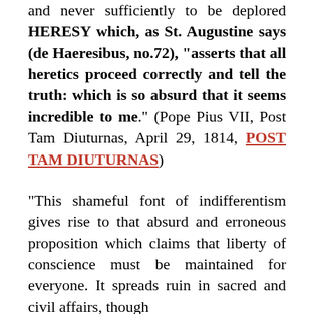and never sufficiently to be deplored HERESY which, as St. Augustine says (de Haeresibus, no.72), "asserts that all heretics proceed correctly and tell the truth: which is so absurd that it seems incredible to me." (Pope Pius VII, Post Tam Diuturnas, April 29, 1814, POST TAM DIUTURNAS)
"This shameful font of indifferentism gives rise to that absurd and erroneous proposition which claims that liberty of conscience must be maintained for everyone. It spreads ruin in sacred and civil affairs, though